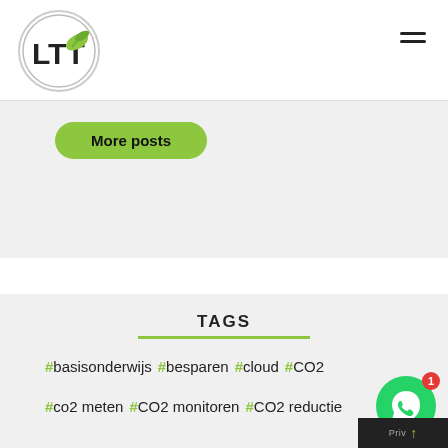[Figure (logo): LTT logo: circle with LTT text and green leaf icon]
[Figure (other): Hamburger menu icon (three horizontal lines)]
More posts
TAGS
#basisonderwijs #besparen #cloud #CO2
#co2 meten #CO2 monitoren #CO2 reductie
[Figure (other): WhatsApp floating button with badge showing 1]
Priv...